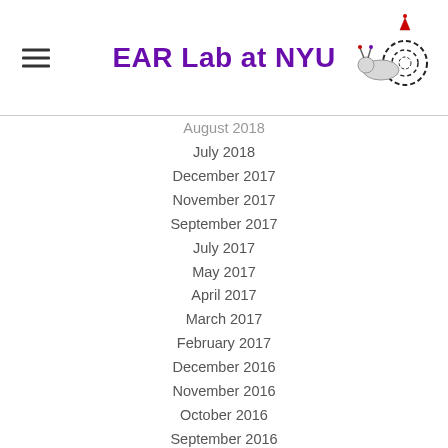EAR Lab at NYU
August 2018
July 2018
December 2017
November 2017
September 2017
July 2017
May 2017
April 2017
March 2017
February 2017
December 2016
November 2016
October 2016
September 2016
August 2016
July 2016
June 2016
May 2016